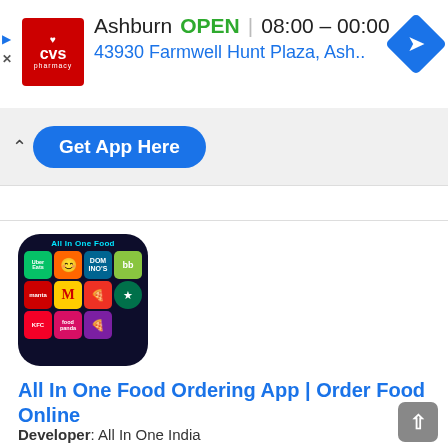[Figure (screenshot): CVS Pharmacy ad banner: logo, Ashburn location, OPEN status, hours 08:00-00:00, address 43930 Farmwell Hunt Plaza, Ash..., navigation arrow icon]
[Figure (screenshot): Blue 'Get App Here' button with caret-up icon on grey bar]
[Figure (logo): All In One Food app icon: dark background with grid of food delivery app logos including Uber Eats, Grubhub, Domino's, BigBasket, McDonald's, Pizza Hut, Starbucks, KFC, Foodpanda, Taco Bell]
All In One Food Ordering App | Order Food Online
Developer: All In One India